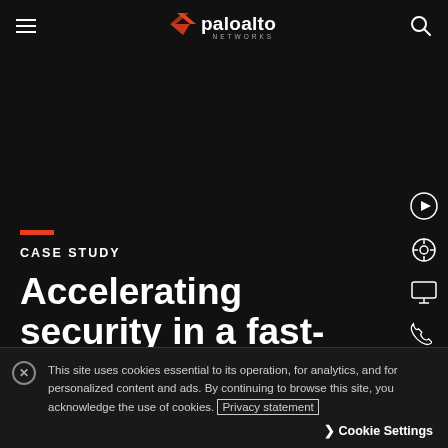Palo Alto Networks – navigation header with hamburger menu, logo, and search icon
[Figure (logo): Palo Alto Networks logo with orange chevron icon and white text 'paloalto networks']
CASE STUDY
Accelerating security in a fast-paced industry
This site uses cookies essential to its operation, for analytics, and for personalized content and ads. By continuing to browse this site, you acknowledge the use of cookies. Privacy statement
Cookie Settings